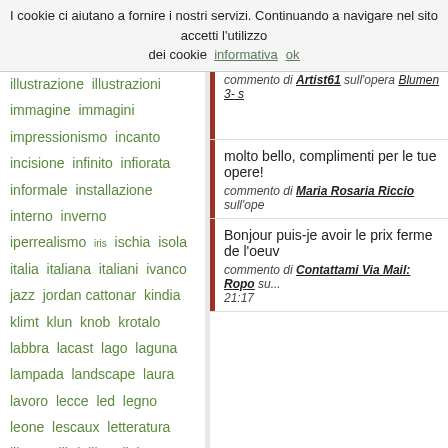I cookie ci aiutano a fornire i nostri servizi. Continuando a navigare nel sito accetti l'utilizzo dei cookie  informativa  ok
illustrazione  illustrazioni
immagine  immagini
impressionismo  incanto
incisione  infinito  infiorata
informale  installazione
interno  inverno
iperrealismo  iris  ischia  isola
italia  italiana  italiani  ivanco
jazz  jordan cattonar  kindia
klimt  klun  knob  krotalo
labbra  lacast  lago  laguna
lampada  landscape  laura
lavoro  lecce  led  legno
leone  lescaux  letteratura
liberta'  libri  libro  light
liguria  live  locus amoenus
lomo  love  luca granato
luca scopetti  luce  luchet
luci  luna  lupo  macro
madonna  madre  magia
malinconia  mamma
commento di Artist61 sull'opera Blumen 3- s
molto bello, complimenti per le tue opere!
commento di Maria Rosaria Riccio sull'ope
Bonjour puis-je avoir le prix ferme de l'oeuv
commento di Contattami Via Mail: Ropo su... 21:17